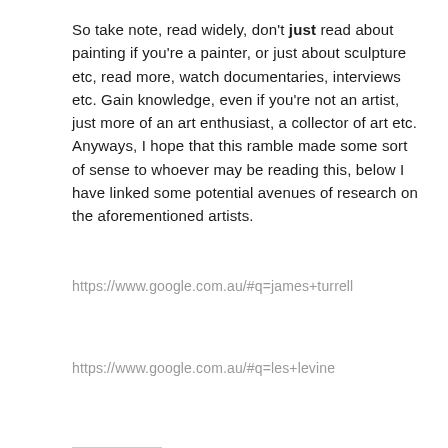So take note, read widely, don't just read about painting if you're a painter, or just about sculpture etc, read more, watch documentaries, interviews etc. Gain knowledge, even if you're not an artist, just more of an art enthusiast, a collector of art etc. Anyways, I hope that this ramble made some sort of sense to whoever may be reading this, below I have linked some potential avenues of research on the aforementioned artists.
https://www.google.com.au/#q=james+turrell
https://www.google.com.au/#q=les+levine